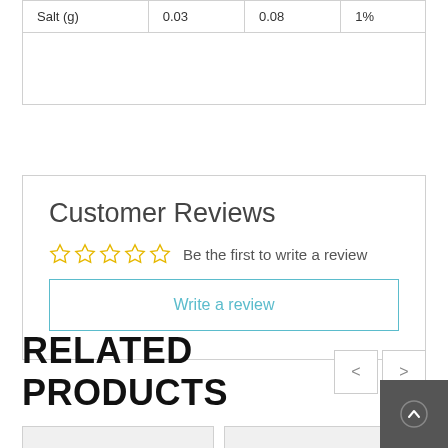|  |  |  |  |
| --- | --- | --- | --- |
| Salt (g) | 0.03 | 0.08 | 1% |
Customer Reviews
Be the first to write a review
Write a review
RELATED PRODUCTS